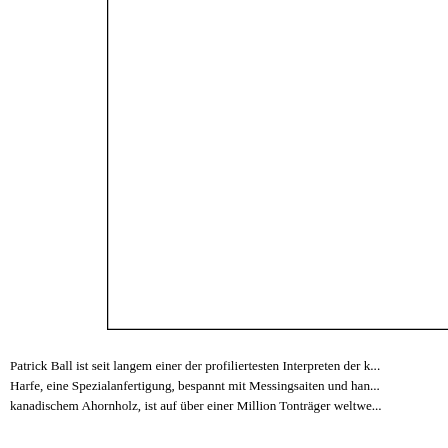[Figure (other): A large empty rectangular box with a black border on the left and bottom sides, open at the top and right. The box takes up most of the upper portion of the page.]
Patrick Ball ist seit langem einer der profiliertesten Interpreten der k... Harfe, eine Spezialanfertigung, bespannt mit Messingsaiten und han... kanadischem Ahornholz, ist auf über einer Million Tonträger weltwe...